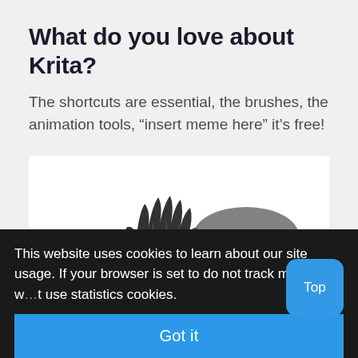What do you love about Krita?
The shortcuts are essential, the brushes, the animation tools, “insert meme here” it’s free!
[Figure (illustration): A black and white meme-style illustration showing the top of a spiky-haired cartoon character with a speech bubble reading 'extiende']
This website uses cookies to learn about our site usage. If your browser is set to do not track mode we w…t use statistics cookies.
Got it